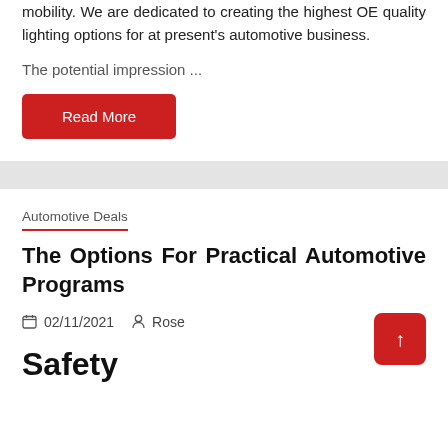mobility. We are dedicated to creating the highest OE quality lighting options for at present's automotive business.
The potential impression ...
Read More
Automotive Deals
The Options For Practical Automotive Programs
02/11/2021   Rose
Safety